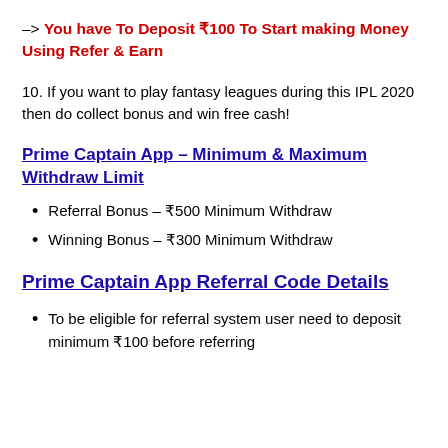–> You have To Deposit ₹100 To Start making Money Using Refer & Earn
10. If you want to play fantasy leagues during this IPL 2020 then do collect bonus and win free cash!
Prime Captain App – Minimum & Maximum Withdraw Limit
Referral Bonus – ₹500 Minimum Withdraw
Winning Bonus – ₹300 Minimum Withdraw
Prime Captain App Referral Code Details
To be eligible for referral system user need to deposit minimum ₹100 before referring